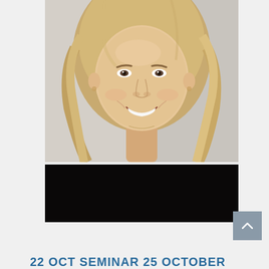[Figure (photo): Portrait photo of a smiling blonde woman with long wavy hair, wearing a black top. The upper portion shows her face and shoulders against a light background, and the lower portion of the image is a solid black area.]
22 OCT SEMINAR 25 OCTOBER